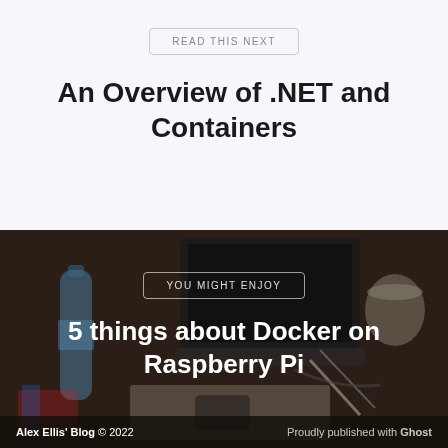READ THIS NEXT
An Overview of .NET and Containers
[Figure (photo): Desk photograph showing a laptop, water bottle (Buxton), notebooks, pens, phone, and a mug on a wooden surface, with a dark overlay.]
YOU MIGHT ENJOY
5 things about Docker on Raspberry Pi
Alex Ellis' Blog © 2022    Proudly published with Ghost